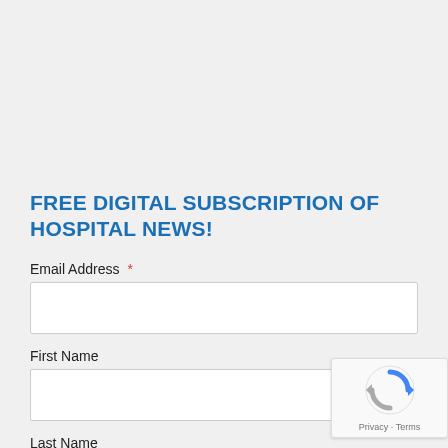FREE DIGITAL SUBSCRIPTION OF HOSPITAL NEWS!
Email Address *
First Name
Last Name